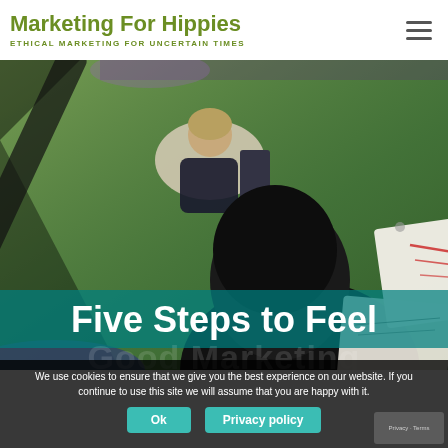Marketing For Hippies
ETHICAL MARKETING FOR UNCERTAIN TIMES
[Figure (photo): Overhead view of people sitting on grass outdoors, working on large flipchart paper with diagrams and notes, in a workshop or planning session setting.]
Five Steps to Feel
Good Marketing
We use cookies to ensure that we give you the best experience on our website. If you continue to use this site we will assume that you are happy with it.
Ok
Privacy policy